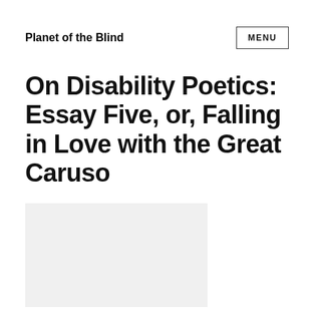Planet of the Blind
On Disability Poetics: Essay Five, or, Falling in Love with the Great Caruso
[Figure (photo): A light gray rectangular image placeholder, partially visible at the bottom of the page]